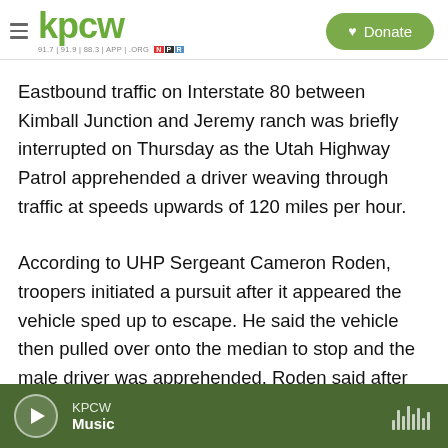kpcw | Donate
Eastbound traffic on Interstate 80 between Kimball Junction and Jeremy ranch was briefly interrupted on Thursday as the Utah Highway Patrol apprehended a driver weaving through traffic at speeds upwards of 120 miles per hour.
According to UHP Sergeant Cameron Roden, troopers initiated a pursuit after it appeared the vehicle sped up to escape. He said the vehicle then pulled over onto the median to stop and the male driver was apprehended. Roden said after the stop,
KPCW Music